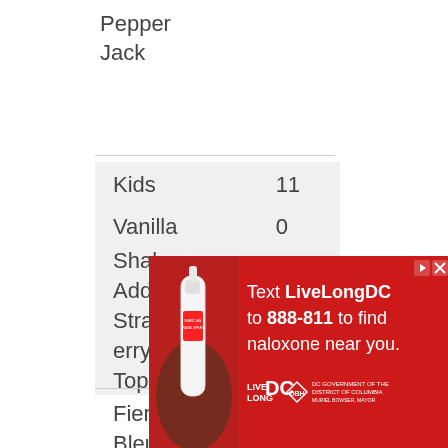Pepper Jack
| Kids | 11 |
| Vanilla Shake | 0 |
| Add Strawberry Topping |  |
| Fiery Bleu | 97 | 57 g | 55 g |
|  | 0 |  |  |
[Figure (photo): Advertisement banner: 'Text LiveLongDC to 888-811 to find naloxone near you.' with nasal spray image and Live Long DC / DBH / DC Government logos on red background.]